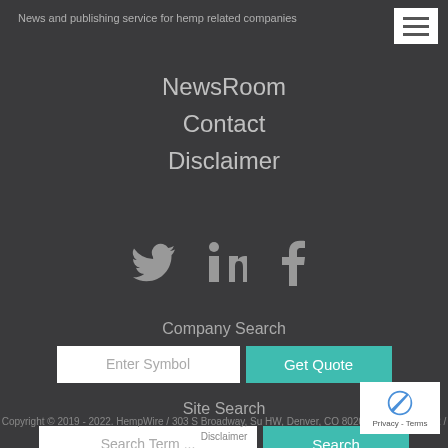News and publishing service for hemp related companies
NewsRoom
Contact
Disclaimer
[Figure (infographic): Social media icons: Twitter bird, LinkedIn 'in', Facebook 'f']
Company Search
Enter Symbol | Get Quote
Site Search
Search Term ... | Search
Copyright © 2019 - 2022. HempWire / 303 S Broadway, Su HW, Denver, CO 80209 (303) 498-7722 / Disclaimer